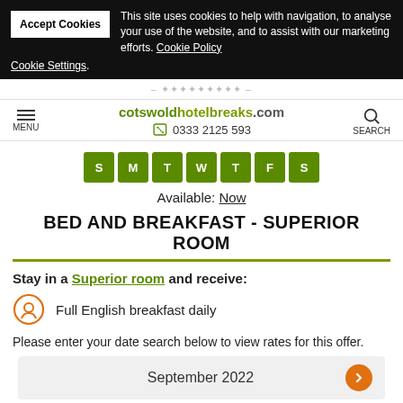This site uses cookies to help with navigation, to analyse your use of the website, and to assist with our marketing efforts. Cookie Policy Cookie Settings.
cotswoldhotelbreaks.com  0333 2125 593
[Figure (other): Day availability boxes showing S M T W T F S in green]
Available: Now
BED AND BREAKFAST - SUPERIOR ROOM
Stay in a Superior room and receive:
Full English breakfast daily
Please enter your date search below to view rates for this offer.
September 2022